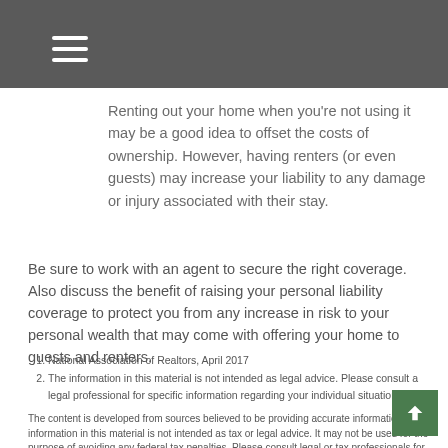Renting out your home when you’re not using it may be a good idea to offset the costs of ownership. However, having renters (or even guests) may increase your liability to any damage or injury associated with their stay.
Be sure to work with an agent to secure the right coverage. Also discuss the benefit of raising your personal liability coverage to protect you from any increase in risk to your personal wealth that may come with offering your home to guests and renters.
National Association of Realtors, April 2017
The information in this material is not intended as legal advice. Please consult a legal professional for specific information regarding your individual situation.
The content is developed from sources believed to be providing accurate information. The information in this material is not intended as tax or legal advice. It may not be used for the purpose of avoiding any federal tax penalties. Please consult legal or tax professionals for specific information regarding your individual situation. This material